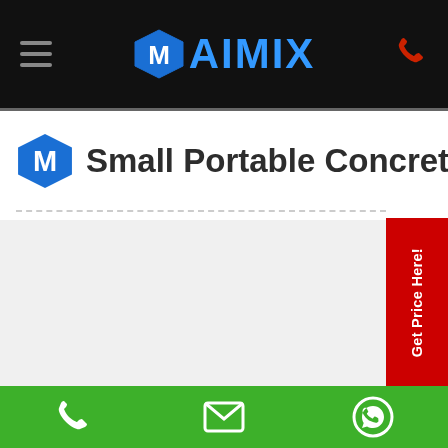AIMIX navigation header with hamburger menu and phone icon
Small Portable Concrete Pump
[Figure (logo): AIMIX company logo with blue hexagon M icon and AIMIX text in blue on black background]
[Figure (photo): Image area for small portable concrete pump product photo (light gray placeholder)]
Bottom green contact bar with phone, email, and WhatsApp icons